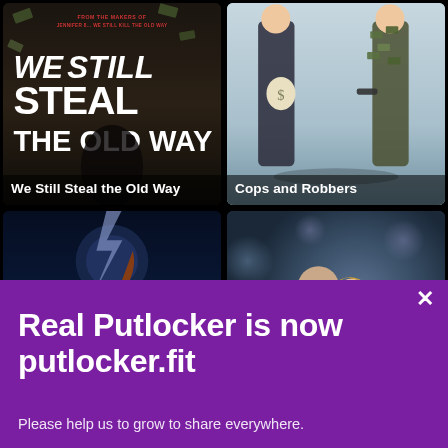[Figure (photo): Movie poster grid showing 4 movie thumbnails: 'We Still Steal the Old Way' (top-left, dark action movie), 'Cops and Robbers' (top-right, comedy with cop and robber against light background), unnamed horror/fantasy film with pumpkin hat creature (bottom-left, dark night scene), and a romance film (bottom-right, couple embracing with bokeh background). Movie title captions overlay the bottom of each poster.]
We Still Steal the Old Way
Cops and Robbers
Real Putlocker is now putlocker.fit
Please help us to grow to share everywhere.